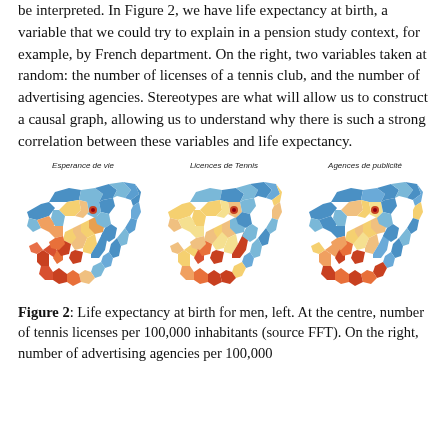be interpreted. In Figure 2, we have life expectancy at birth, a variable that we could try to explain in a pension study context, for example, by French department. On the right, two variables taken at random: the number of licenses of a tennis club, and the number of advertising agencies. Stereotypes are what will allow us to construct a causal graph, allowing us to understand why there is such a strong correlation between these variables and life expectancy.
[Figure (map): Three choropleth maps of France by department. Left map titled 'Esperance de vie' (life expectancy) showing departments colored in blue, light blue, orange, red and yellow. Center map titled 'Licences de Tennis' showing similar color pattern. Right map titled 'Agences de publicité' showing departments colored in blue, red, orange, and light colors.]
Figure 2: Life expectancy at birth for men, left. At the centre, number of tennis licenses per 100,000 inhabitants (source FFT). On the right, number of advertising agencies per 100,000